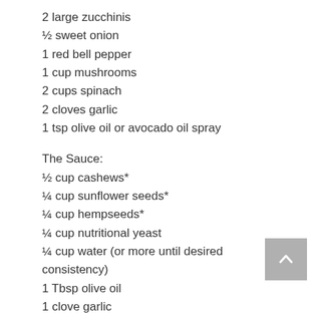2 large zucchinis
½ sweet onion
1 red bell pepper
1 cup mushrooms
2 cups spinach
2 cloves garlic
1 tsp olive oil or avocado oil spray
The Sauce:
½ cup cashews*
¼ cup sunflower seeds*
¼ cup hempseeds*
¼ cup nutritional yeast
¼ cup water (or more until desired consistency)
1 Tbsp olive oil
1 clove garlic
Juice of ½ lemon